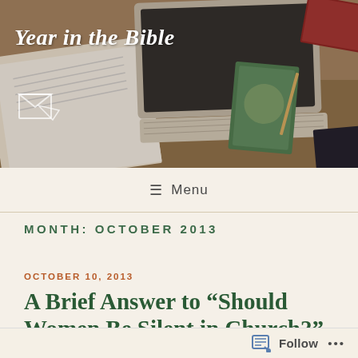[Figure (photo): Header photo showing a desk with an open Bible, laptop computer, books, and other items viewed from above. Has a warm brown/tan color tone.]
Year in the Bible
Menu
MONTH: OCTOBER 2013
OCTOBER 10, 2013
A Brief Answer to “Should Women Be Silent in Church?”
Paul writes what have been pretty controversial words in 1
Follow ...